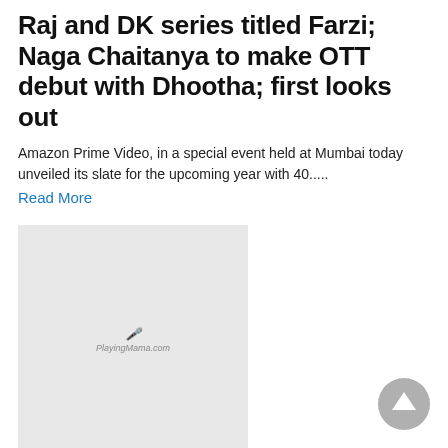Raj and DK series titled Farzi; Naga Chaitanya to make OTT debut with Dhootha; first looks out
Amazon Prime Video, in a special event held at Mumbai today unveiled its slate for the upcoming year with 40.....
Read More
[Figure (photo): Thumbnail image placeholder with PlayingMama.com watermark logo]
11-Mar-2022
Katrina Kaif resumes shooting for Sriram Raghavan's Merry Christmas opposite Vijay Sethupathi, shares latest update from film's sets
Katrina Kaif took to social media today to give an update
[Figure (other): Scroll to top button - upward arrow in grey circle]